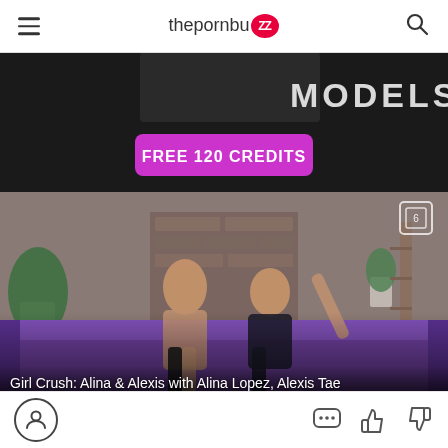thepornbuzz
[Figure (screenshot): Advertisement banner with dark background showing 'MODELS' text and a purple 'FREE 120 CREDITS' button]
[Figure (photo): Video thumbnail showing two women on a purple couch in a room with brick fireplace and plants]
Girl Crush: Alina & Alexis with Alina Lopez, Alexis Tae
[Figure (infographic): Action bar with profile icon, comment icon, thumbs up and thumbs down icons]